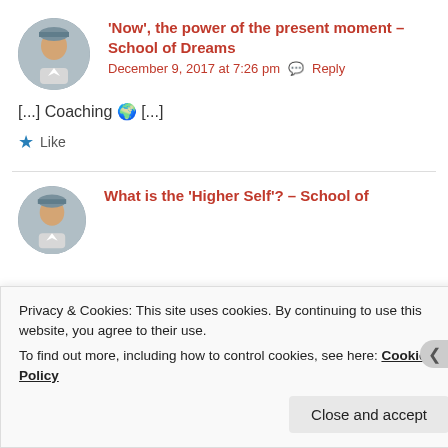'Now', the power of the present moment – School of Dreams
December 9, 2017 at 7:26 pm  Reply
[...] Coaching 🌍 [...]
Like
What is the 'Higher Self'? – School of
Privacy & Cookies: This site uses cookies. By continuing to use this website, you agree to their use.
To find out more, including how to control cookies, see here: Cookie Policy
Close and accept